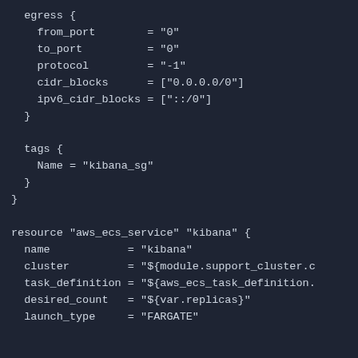egress {
    from_port        = "0"
    to_port          = "0"
    protocol         = "-1"
    cidr_blocks      = ["0.0.0.0/0"]
    ipv6_cidr_blocks = ["::/0"]
  }

  tags {
    Name = "kibana_sg"
  }
}

resource "aws_ecs_service" "kibana" {
  name            = "kibana"
  cluster         = "${module.support_cluster.c
  task_definition = "${aws_ecs_task_definition.
  desired_count   = "${var.replicas}"
  launch_type     = "FARGATE"